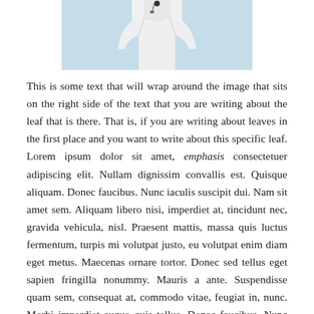[Figure (photo): Partial image of a person in a white coat/garment against a light blue background, cropped at top]
This is some text that will wrap around the image that sits on the right side of the text that you are writing about the leaf that is there. That is, if you are writing about leaves in the first place and you want to write about this specific leaf. Lorem ipsum dolor sit amet, emphasis consectetuer adipiscing elit. Nullam dignissim convallis est. Quisque aliquam. Donec faucibus. Nunc iaculis suscipit dui. Nam sit amet sem. Aliquam libero nisi, imperdiet at, tincidunt nec, gravida vehicula, nisl. Praesent mattis, massa quis luctus fermentum, turpis mi volutpat justo, eu volutpat enim diam eget metus. Maecenas ornare tortor. Donec sed tellus eget sapien fringilla nonummy. Mauris a ante. Suspendisse quam sem, consequat at, commodo vitae, feugiat in, nunc. Morbi imperdiet augue quis tellus. Donec faucibus. Nunc iaculis suscipit dui. Nam sit amet sem. Aliquam libero nisi, imperdiet at, tincidunt nec, gravida vehicula, nisl. Praesent mattis, massa quis luctus fermentum, turpis mi volutpat justo, eu volutpat enim diam eget